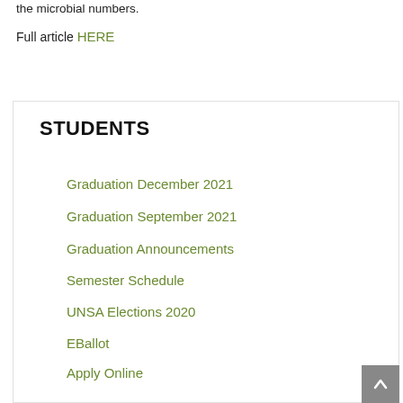the microbial numbers.
Full article HERE
STUDENTS
Graduation December 2021
Graduation September 2021
Graduation Announcements
Semester Schedule
UNSA Elections 2020
EBallot
Apply Online